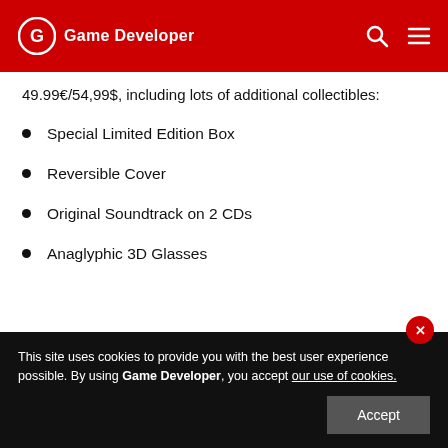Game Developer
49.99€/54,99$, including lots of additional collectibles:
Special Limited Edition Box
Reversible Cover
Original Soundtrack on 2 CDs
Anaglyphic 3D Glasses
This site uses cookies to provide you with the best user experience possible. By using Game Developer, you accept our use of cookies.